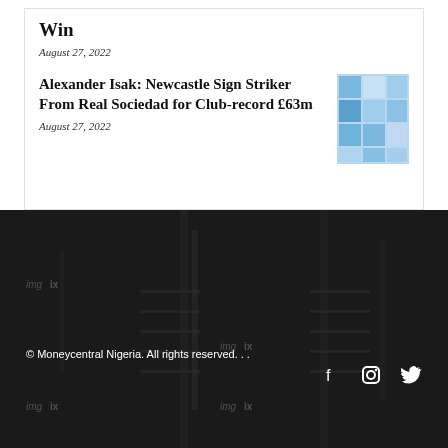Win
August 27, 2022
Alexander Isak: Newcastle Sign Striker From Real Sociedad for Club-record £63m
August 27, 2022
[Figure (other): Dark background photo of a gym/equipment space with imgix watermarks]
© Moneycentral Nigeria. All rights reserved. . .